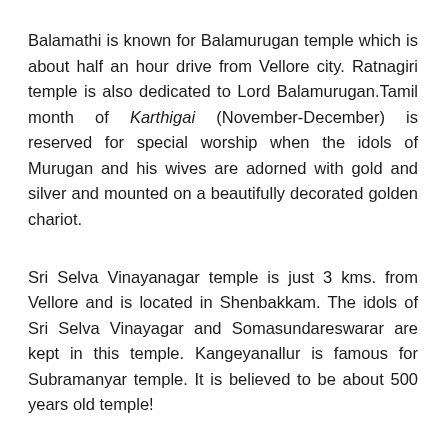Balamathi is known for Balamurugan temple which is about half an hour drive from Vellore city. Ratnagiri temple is also dedicated to Lord Balamurugan.Tamil month of Karthigai (November-December) is reserved for special worship when the idols of Murugan and his wives are adorned with gold and silver and mounted on a beautifully decorated golden chariot.
Sri Selva Vinayanagar temple is just 3 kms. from Vellore and is located in Shenbakkam. The idols of Sri Selva Vinayagar and Somasundareswarar are kept in this temple. Kangeyanallur is famous for Subramanyar temple. It is believed to be about 500 years old temple!